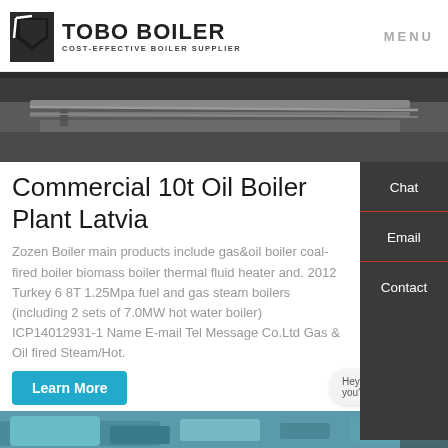TOBO BOILER COST-EFFECTIVE BOILER SUPPLIER | MENU
[Figure (photo): Photograph of industrial boiler tubes/pipes in a large facility, dark interior with metal components visible]
Commercial 10t Oil Boiler Plant Latvia
Zozen Boiler main products include gas&oil boiler coal-fired boiler biomass boiler thermal fluid heater and. 2012 Turkey 6 8T 1.25Mpa fuel and gas steam boilers (including 2 sets of 7.0MW hot water boiler) ICP14012931-1 Name E-mail Tel Message Co.Ltd Gas & Oil fired Steam/Hot.
Learn More
Hey, we are live 24/7. How may I help you?
[Figure (photo): Partial view of industrial boiler equipment, teal/blue colored machinery at bottom of page]